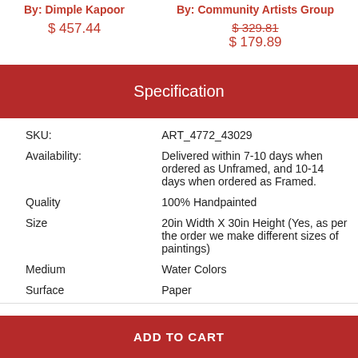By: Dimple Kapoor — $457.44
By: Community Artists Group — $329.81 (struck) / $179.89
Specification
| Field | Value |
| --- | --- |
| SKU: | ART_4772_43029 |
| Availability: | Delivered within 7-10 days when ordered as Unframed, and 10-14 days when ordered as Framed. |
| Quality | 100% Handpainted |
| Size | 20in Width X 30in Height (Yes, as per the order we make different sizes of paintings) |
| Medium | Water Colors |
| Surface | Paper |
ADD TO CART